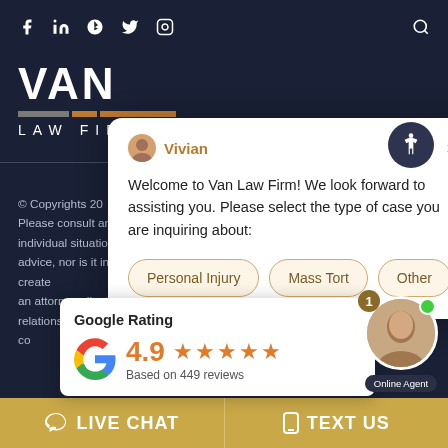Social media icons: f, in, yelp, twitter, instagram, search
[Figure (logo): Van Law Firm logo with VAN text and decorative bar in gray and orange, with LAW FIRM text below]
[Figure (screenshot): Chat popup from Vivian with message: Welcome to Van Law Firm! We look forward to assisting you. Please select the type of case you are inquiring about: with buttons Personal Injury, Mass Tort, Other]
© Copyrights 20... Please consult an... individual situatio... advice, nor is it intended to be. Calling our firm does not create an attorney-client relationship. Until an attorney-client relationship is established, please withhold from sending confidential information.
[Figure (infographic): Google Rating box showing 4.9 stars based on 449 reviews with Google G logo]
[Figure (photo): Online Agent photo with green status dot and notification badge showing 1]
LIVE CHAT   TEXT US